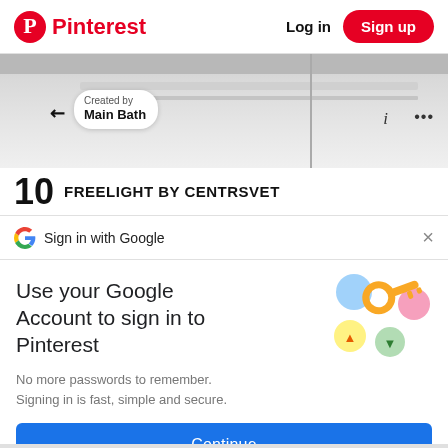Pinterest  Log in  Sign up
[Figure (screenshot): Partial view of a bathroom image with a 'Created by Main Bath' bubble overlay, info and dots icons, and an arrow icon on the left.]
10  FREELIGHT BY CENTRSVET
G  Sign in with Google  ×
Use your Google Account to sign in to Pinterest
[Figure (illustration): Google colorful key illustration with circles in blue, yellow, green, and red/pink colors.]
No more passwords to remember. Signing in is fast, simple and secure.
Continue